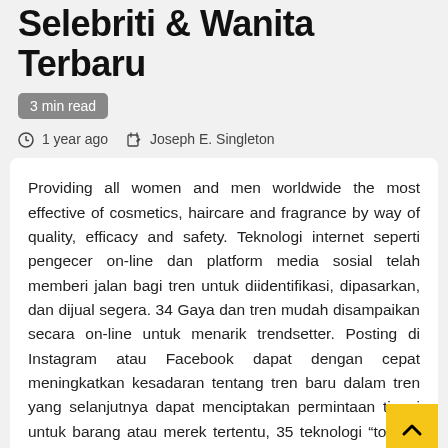Selebriti & Wanita Terbaru
3 min read
1 year ago   Joseph E. Singleton
Providing all women and men worldwide the most effective of cosmetics, haircare and fragrance by way of quality, efficacy and safety. Teknologi internet seperti pengecer on-line dan platform media sosial telah memberi jalan bagi tren untuk diidentifikasi, dipasarkan, dan dijual segera. 34 Gaya dan tren mudah disampaikan secara on-line untuk menarik trendsetter. Posting di Instagram atau Facebook dapat dengan cepat meningkatkan kesadaran tentang tren baru dalam tren yang selanjutnya dapat menciptakan permintaan tinggi untuk barang atau merek tertentu, 35 teknologi “tombol sekarang” baru dapat menghubungkan gaya-gaya ini dengan pemindahan langsung.